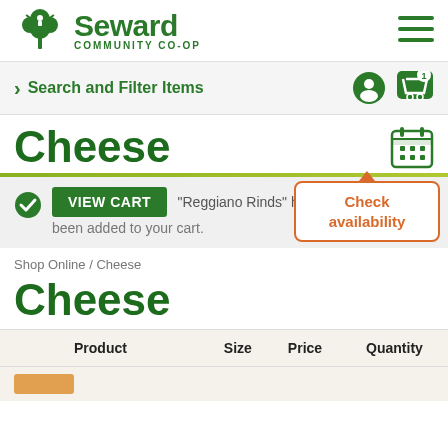[Figure (logo): Seward Community Co-op logo with tree icon and hamburger menu]
Search and Filter Items
Cheese
VIEW CART  "Reggiano Rinds" has been added to your cart.
Check availability
Shop Online / Cheese
Cheese
| Product | Size | Price | Quantity |
| --- | --- | --- | --- |